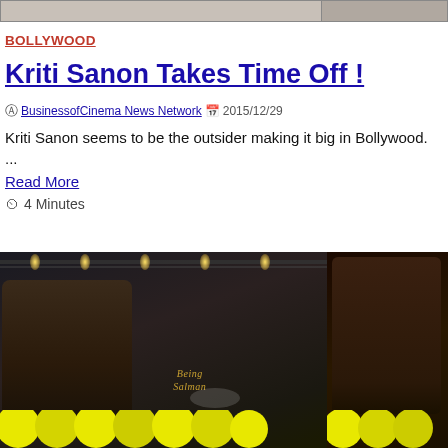[Figure (photo): Top banner showing two cropped photos side by side, partially visible at top]
BOLLYWOOD
Kriti Sanon Takes Time Off !
BusinessofCinema News Network  2015/12/29
Kriti Sanon seems to be the outsider making it big in Bollywood. ...
Read More
4 Minutes
[Figure (photo): Two photos side by side: left shows a man (Salman Khan) smiling at an event with truss lighting and Being Salman sign, yellow circles overlay at bottom; right shows same man in closer frame]